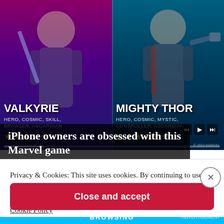[Figure (screenshot): Marvel game screenshot showing two heroes: Valkyrie (HERO, COSMIC, SKILL, BRAWLER, ASGARDIAN) with 6 gold stars and Mighty Thor (HERO, COSMIC, MYSTIC, CONTROLLER, ASGARDIAN) with 6 gold stars. Purple and teal backgrounds respectively.]
iPhone owners are obsessed with this Marvel game
Privacy & Cookies: This site uses cookies. By continuing to use this website, you agree to their use.
To find out more, including how to control cookies, see here:
Cookie Policy
Close and accept
BROWSING